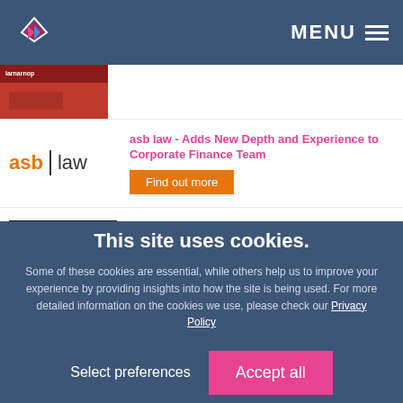MENU
[Figure (photo): Partially visible thumbnail image with red tones, showing what appears to be an article image with a label overlay]
[Figure (logo): asb law logo — orange 'asb' text, vertical divider, black 'law' text]
asb law - Adds New Depth and Experience to Corporate Finance Team
Find out more
[Figure (photo): Photo of airplane on tarmac at dusk with a red terminal building in the background]
Business Travel - The Smarter Way with Norwegian Air
Find out more
This site uses cookies.
Some of these cookies are essential, while others help us to improve your experience by providing insights into how the site is being used. For more detailed information on the cookies we use, please check our Privacy Policy
Select preferences
Accept all